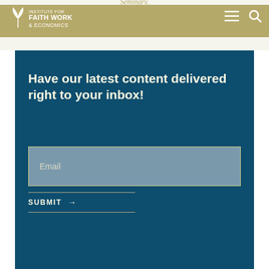Seminary.
[Figure (logo): Institute for Faith Work & Economics logo — white leaf/bird graphic with text]
Have our latest content delivered right to your inbox!
Email
SUBMIT →